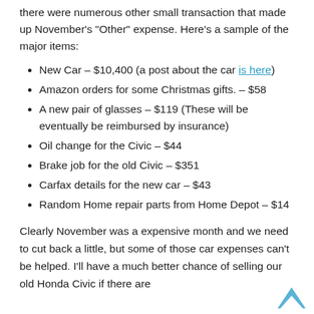there were numerous other small transaction that made up November's "Other" expense.  Here's a sample of the major items:
New Car – $10,400 (a post about the car is here)
Amazon orders for some Christmas gifts. – $58
A new pair of glasses – $119  (These will be eventually be reimbursed by insurance)
Oil change for the Civic – $44
Brake job for the old Civic – $351
Carfax details for the new car – $43
Random Home repair parts from Home Depot – $14
Clearly November was a expensive month and we need to cut back a little, but some of those car expenses can't be helped.  I'll have a much better chance of selling our old Honda Civic if there are